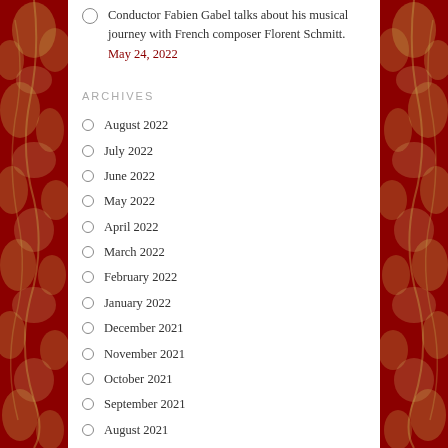[Figure (illustration): Left decorative border with dark red and cream Art Nouveau floral/leaf pattern]
[Figure (illustration): Right decorative border with dark red and cream Art Nouveau floral/leaf pattern]
Conductor Fabien Gabel talks about his musical journey with French composer Florent Schmitt. May 24, 2022
ARCHIVES
August 2022
July 2022
June 2022
May 2022
April 2022
March 2022
February 2022
January 2022
December 2021
November 2021
October 2021
September 2021
August 2021